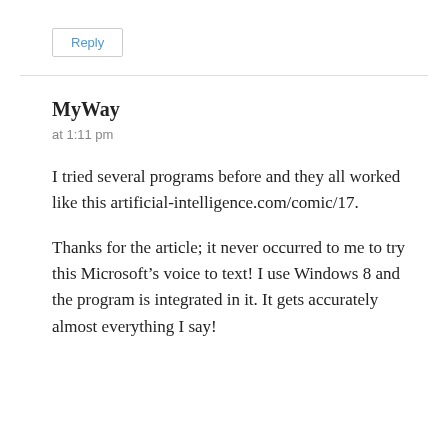Reply
MyWay
at 1:11 pm
I tried several programs before and they all worked like this artificial-intelligence.com/comic/17.
Thanks for the article; it never occurred to me to try this Microsoft’s voice to text! I use Windows 8 and the program is integrated in it. It gets accurately almost everything I say!